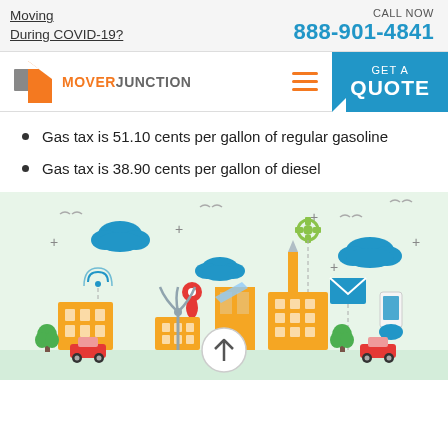Moving During COVID-19?
CALL NOW 888-901-4841
[Figure (logo): Mover Junction logo with orange and grey icon and orange/grey text]
Gas tax is 51.10 cents per gallon of regular gasoline
Gas tax is 38.90 cents per gallon of diesel
[Figure (illustration): Smart city illustration with buildings, clouds, cars, WiFi, GPS pin, wind turbine, envelope, phone, and trees on a light green background]